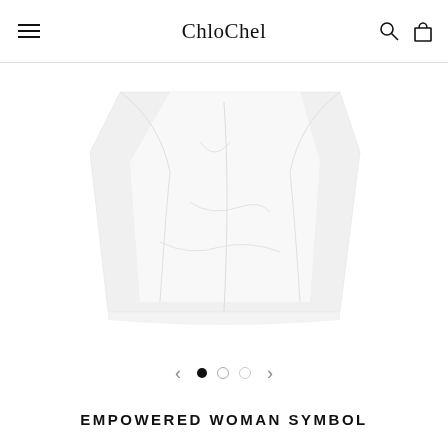ChloChel
[Figure (photo): White fabric/garment folded, showing a white t-shirt or crop top lying flat on a white background]
• • •  (image navigation dots — 1 filled, 2 empty)
EMPOWERED WOMAN SYMBOL